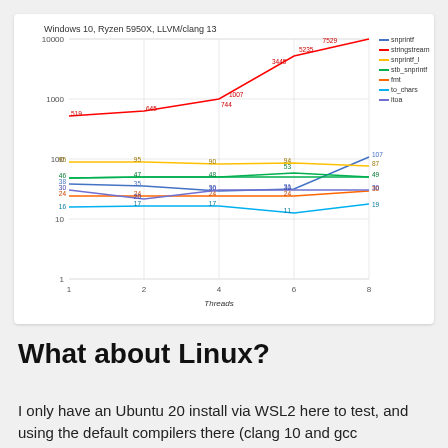[Figure (line-chart): Windows 10, Ryzen 5950X, LLVM/clang 13]
What about Linux?
I only have an Ubuntu 20 install via WSL2 here to test, and using the default compilers there (clang 10 and gcc